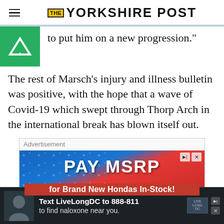THE YORKSHIRE POST
to put him on a new progression."
The rest of Marsch's injury and illness bulletin was positive, with the hope that a wave of Covid-19 which swept through Thorp Arch in the international break has blown itself out.
[Figure (screenshot): Advertisement banner: PAY MSRP for Brand New Hondas In-Stock!]
[Figure (screenshot): Bottom advertisement bar: Text LiveLongDC to 888-811 to find naloxone near you.]